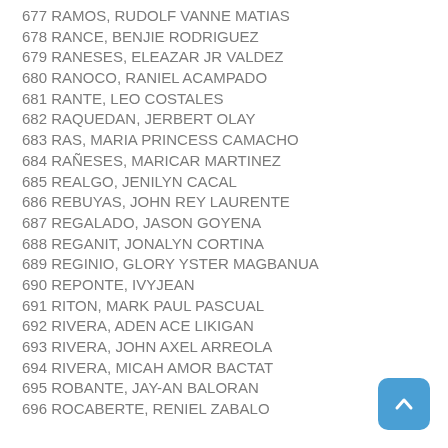677 RAMOS, RUDOLF VANNE MATIAS
678 RANCE, BENJIE RODRIGUEZ
679 RANESES, ELEAZAR JR VALDEZ
680 RANOCO, RANIEL ACAMPADO
681 RANTE, LEO COSTALES
682 RAQUEDAN, JERBERT OLAY
683 RAS, MARIA PRINCESS CAMACHO
684 RAÑESES, MARICAR MARTINEZ
685 REALGO, JENILYN CACAL
686 REBUYAS, JOHN REY LAURENTE
687 REGALADO, JASON GOYENA
688 REGANIT, JONALYN CORTINA
689 REGINIO, GLORY YSTER MAGBANUA
690 REPONTE, IVYJEAN
691 RITON, MARK PAUL PASCUAL
692 RIVERA, ADEN ACE LIKIGAN
693 RIVERA, JOHN AXEL ARREOLA
694 RIVERA, MICAH AMOR BACTAT
695 ROBANTE, JAY-AN BALORAN
696 ROCABERTE, RENIEL ZABALO